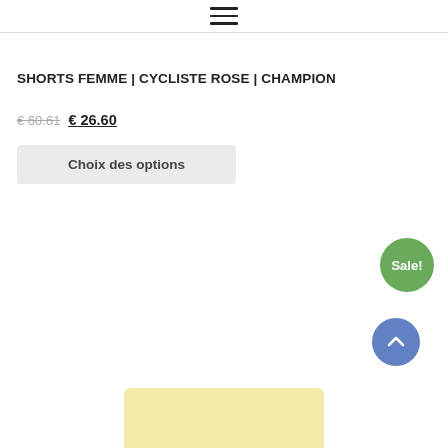≡ (hamburger menu)
SHORTS FEMME | CYCLISTE ROSE | CHAMPION
€ 60.61 € 26.60
Choix des options
[Figure (other): Green circular Sale! badge]
[Figure (other): Blue circular scroll-to-top button with upward chevron]
[Figure (other): Partial product image at bottom of page showing yellow/cream colored item]